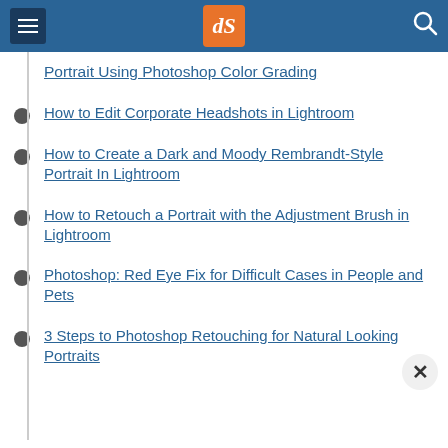dPS navigation header
Portrait Using Photoshop Color Grading
How to Edit Corporate Headshots in Lightroom
How to Create a Dark and Moody Rembrandt-Style Portrait In Lightroom
How to Retouch a Portrait with the Adjustment Brush in Lightroom
Photoshop: Red Eye Fix for Difficult Cases in People and Pets
3 Steps to Photoshop Retouching for Natural Looking Portraits